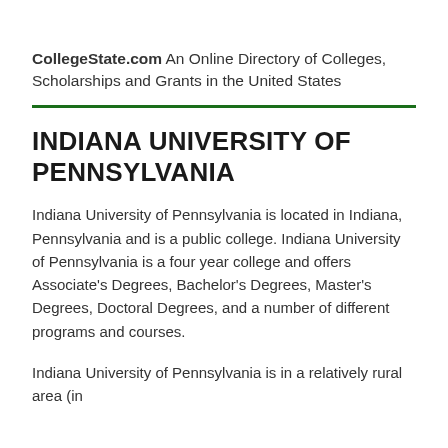CollegeState.com An Online Directory of Colleges, Scholarships and Grants in the United States
INDIANA UNIVERSITY OF PENNSYLVANIA
Indiana University of Pennsylvania is located in Indiana, Pennsylvania and is a public college. Indiana University of Pennsylvania is a four year college and offers Associate's Degrees, Bachelor's Degrees, Master's Degrees, Doctoral Degrees, and a number of different programs and courses.
Indiana University of Pennsylvania is in a relatively rural area (in